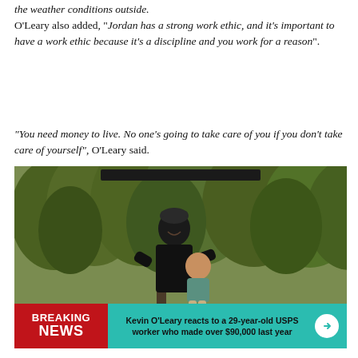the weather conditions outside.
O'Leary also added, "Jordan has a strong work ethic, and it's important to have a work ethic because it's a discipline and you work for a reason".
"You need money to live. No one's going to take care of you if you don't take care of yourself", O'Leary said.
[Figure (photo): A man wearing a dark cap and black t-shirt holds and smiles at a young toddler in an outdoor park setting with trees in the background. A news chyron at the bottom reads 'BREAKING NEWS: Kevin O'Leary reacts to a 29-year-old USPS worker who made over $90,000 last year']